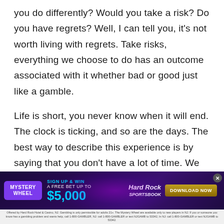you do differently? Would you take a risk? Do you have regrets? Well, I can tell you, it's not worth living with regrets. Take risks, everything we choose to do has an outcome associated with it whether bad or good just like a gamble.
Life is short, you never know when it will end. The clock is ticking, and so are the days. The best way to describe this experience is by saying that you don't have a lot of time. We are born at a given age, we develop into teenagers, then adults, and then get older until one day we die.
[Figure (infographic): Hard Rock Sportsbook advertisement banner. Mystery Wheel promotion. Sign up & win a free bet up to $5,000. Download Now button. Features glowing purple and pink neon circular design with a person in the background.]